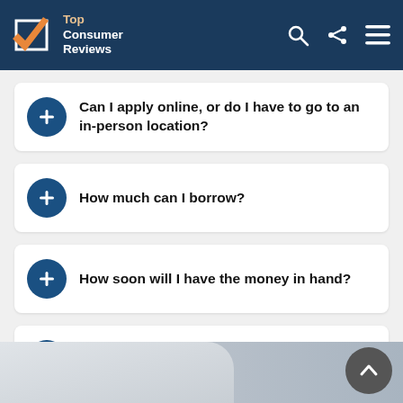Top Consumer Reviews
Can I apply online, or do I have to go to an in-person location?
How much can I borrow?
How soon will I have the money in hand?
Are online Auto Loans risky?